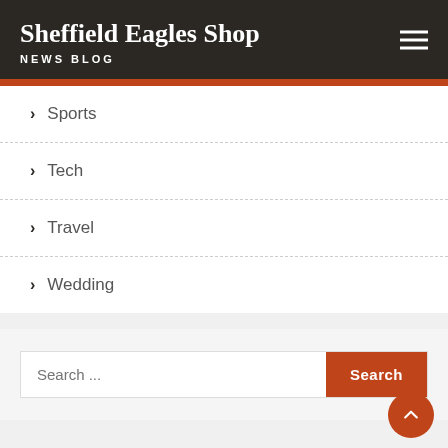Sheffield Eagles Shop NEWS BLOG
Sports
Tech
Travel
Wedding
Search ...